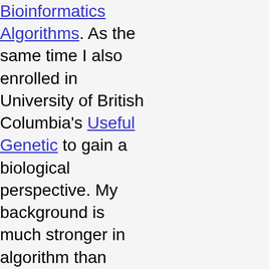Bioinformatics Algorithms. As the same time I also enrolled in University of British Columbia's Useful Genetic to gain a biological perspective. My background is much stronger in algorithm than genetics. Still I get an appreciation in biology and learned that there are much more about life science yet to be discovered.

Other honorable mention are Data Analysis from Jeff Leek of Johns Hopkins University and